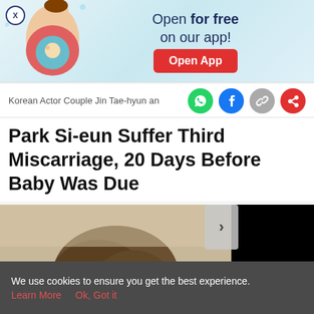[Figure (screenshot): App advertisement banner with pregnant woman illustration, text 'Open for free on our app!' and red 'Open App' button]
Korean Actor Couple Jin Tae-hyun an
Park Si-eun Suffer Third Miscarriage, 20 Days Before Baby Was Due
[Figure (photo): Article hero image split: left side shows a person's head/hair, right side is black video player area with navigation arrow]
[Figure (screenshot): App bottom navigation bar with Tools, Articles, center pregnant woman icon (pink circle), Feed, and Poll]
We use cookies to ensure you get the best experience.
Learn More   Ok, Got it